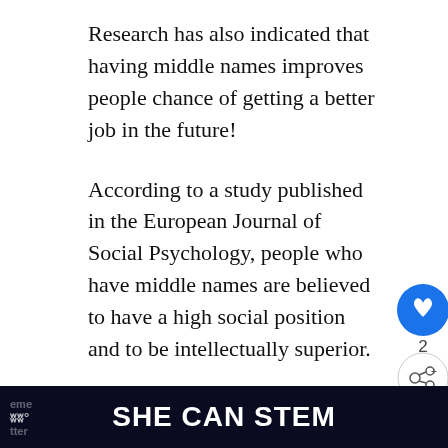Research has also indicated that having middle names improves people chance of getting a better job in the future!
According to a study published in the European Journal of Social Psychology, people who have middle names are believed to have a high social position and to be intellectually superior.
Great middle names for your baby girl might come from any source, whe... want to have unique middle names,
[Figure (screenshot): UI overlay on right side with a blue circular heart/like button, a count of 2, and a share button (circle with share icon). Below that is a 'WHAT'S NEXT ->' card showing thumbnail of a baby and text 'Newborn Leg Shaking: Wh...']
[Figure (screenshot): Bottom advertisement banner with dark navy background and bold white text reading 'SHE CAN STEM']